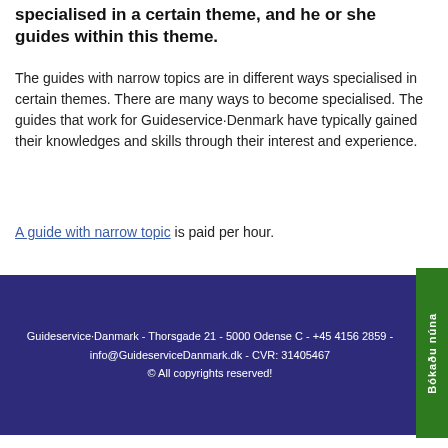specialised in a certain theme, and he or she guides within this theme.
The guides with narrow topics are in different ways specialised in certain themes. There are many ways to become specialised. The guides that work for Guideservice·Denmark have typically gained their knowledges and skills through their interest and experience.
A guide with narrow topic is paid per hour.
Guideservice·Danmark - Thorsgade 21 - 5000 Odense C - +45 4156 2859 - info@GuideserviceDanmark.dk - CVR: 31405467 © All copyrights reserved!